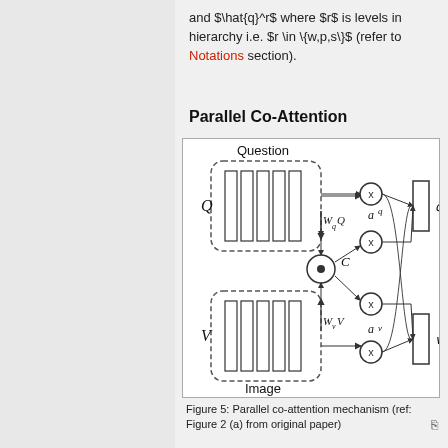and $\hat{q}^r$ where $r$ is levels in hierarchy i.e. $r \in \{w,p,s\}$ (refer to Notations section).
Parallel Co-Attention
[Figure (engineering-diagram): Parallel co-attention mechanism diagram showing Question matrix Q and Image matrix V feeding into parallel co-attention blocks with weight matrices W_qQ and W_vV, a co-attention module C (dot product), cross multiplication nodes (x), attention outputs a^q and a^v, and final attended representations q-hat and v-hat.]
Figure 5: Parallel co-attention mechanism (ref: Figure 2 (a) from original paper)